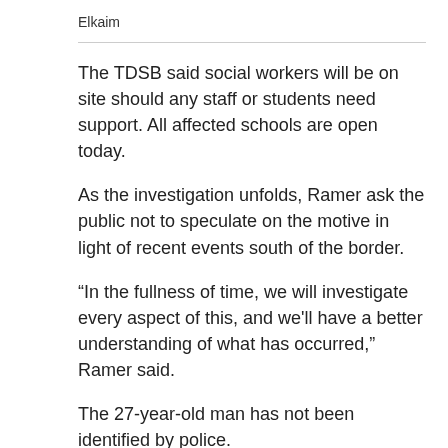Elkaim
The TDSB said social workers will be on site should any staff or students need support. All affected schools are open today.
As the investigation unfolds, Ramer ask the public not to speculate on the motive in light of recent events south of the border.
“In the fullness of time, we will investigate every aspect of this, and we'll have a better understanding of what has occurred,” Ramer said.
The 27-year-old man has not been identified by police.